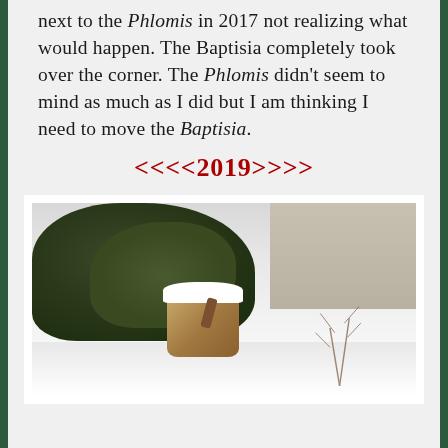next to the Phlomis in 2017 not realizing what would happen. The Baptisia completely took over the corner. The Phlomis didn't seem to mind as much as I did but I am thinking I need to move the Baptisia.
<<<<2019>>>>
[Figure (photo): A snow-covered garden scene showing a small cylindrical clay or wooden pot with snow on top and a stick inside, positioned next to a dense evergreen shrub, with snow on the ground and bare twigs in the background.]